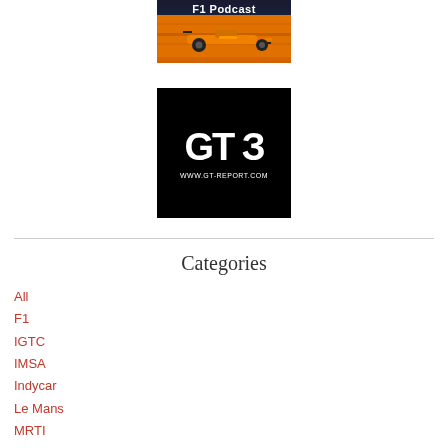[Figure (other): F1 Podcast image with orange Formula 1 car and text 'F1 Podcast']
[Figure (other): GT Report logo on black background showing 'GT 2' in large white letters with 'WWW.GT-REPORT.COM' below]
Categories
All
F1
IGTC
IMSA
Indycar
Le Mans
MRTI
NASA